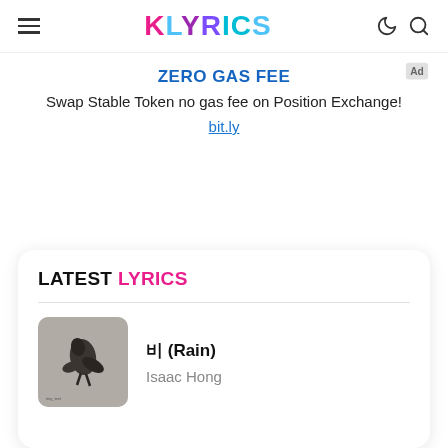KLYRICS
[Figure (infographic): Advertisement banner with title ZERO GAS FEE, body text 'Swap Stable Token no gas fee on Position Exchange!', and link bit.ly]
LATEST LYRICS
[Figure (photo): Album art thumbnail: grayscale image of a bird/creature figure on a textured background, with rounded corners]
비 (Rain)
Isaac Hong